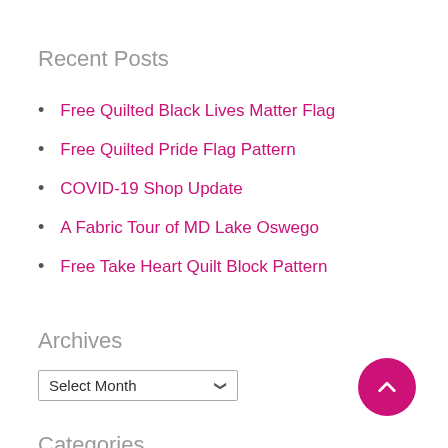Recent Posts
Free Quilted Black Lives Matter Flag
Free Quilted Pride Flag Pattern
COVID-19 Shop Update
A Fabric Tour of MD Lake Oswego
Free Take Heart Quilt Block Pattern
Archives
Select Month (dropdown)
Categories
Select Category (dropdown)